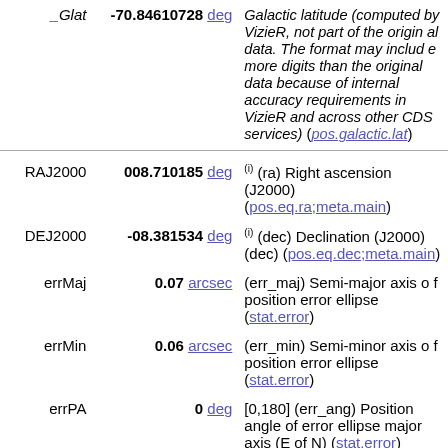| Name | Value | Description |
| --- | --- | --- |
| _Glat | -70.84610728 deg | Galactic latitude (computed by VizieR, not part of the original data. The format may include more digits than the original data because of internal accuracy requirements in VizieR and across other CDS services) (pos.galactic.lat) |
| RAJ2000 | 008.710185 deg | (i) (ra) Right ascension (J2000) (pos.eq.ra;meta.main) |
| DEJ2000 | -08.381534 deg | (i) (dec) Declination (J2000) (dec) (pos.eq.dec;meta.main) |
| errMaj | 0.07 arcsec | (err_maj) Semi-major axis of position error ellipse (stat.error) |
| errMin | 0.06 arcsec | (err_min) Semi-minor axis of position error ellipse (stat.error) |
| errPA | 0 deg | [0,180] (err_ang) Position angle of error ellipse major axis (E of N) (stat.error) |